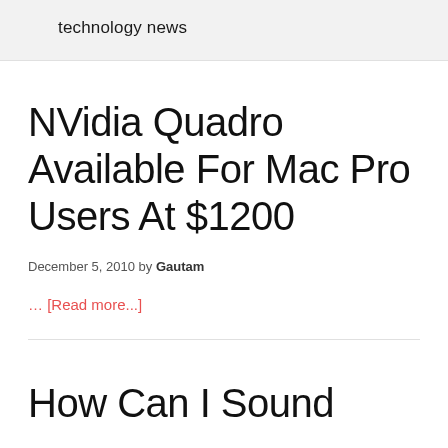technology news
NVidia Quadro Available For Mac Pro Users At $1200
December 5, 2010 by Gautam
... [Read more...]
How Can I Sound